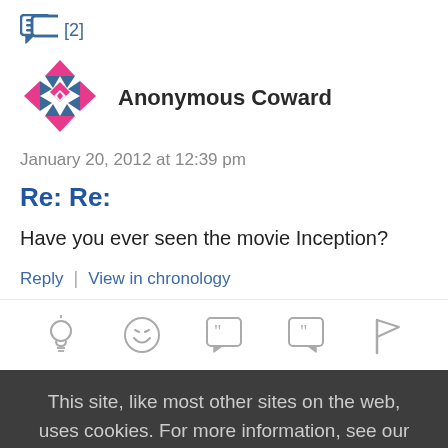[Figure (illustration): Chat/comment icon with [2] badge in blue]
[Figure (illustration): User avatar: pink geometric snowflake/quilt pattern]
Anonymous Coward
January 20, 2012 at 12:39 pm
Re: Re:
Have you ever seen the movie Inception?
Reply | View in chronology
[Figure (illustration): Row of 5 icon buttons: lightbulb, laughing emoji, opening quote bubble, closing quote bubble, flag]
This site, like most other sites on the web, uses cookies. For more information, see our privacy policy
GOT IT